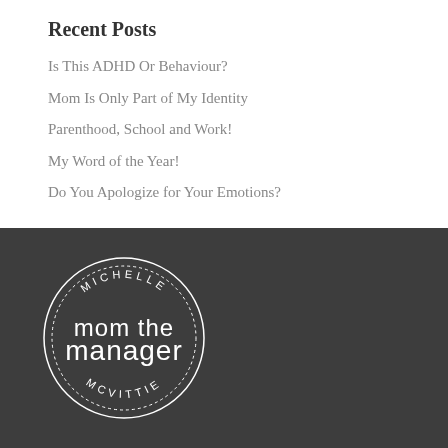Recent Posts
Is This ADHD Or Behaviour?
Mom Is Only Part of My Identity
Parenthood, School and Work!
My Word of the Year!
Do You Apologize for Your Emotions?
[Figure (logo): Mom the Manager logo: circular badge with 'MICHELLE' arched at top, 'MCVITTIE' arched at bottom, and 'mom the manager' text in the center, white on dark grey background]